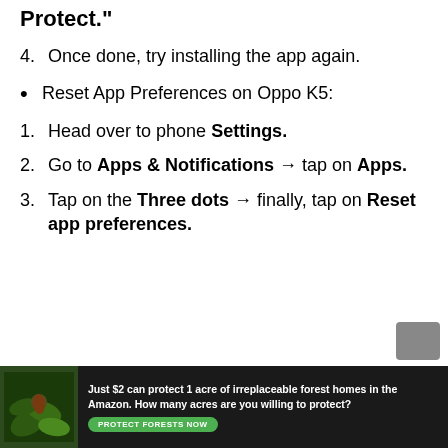Protect."
4. Once done, try installing the app again.
Reset App Preferences on Oppo K5:
1. Head over to phone Settings.
2. Go to Apps & Notifications → tap on Apps.
3. Tap on the Three dots → finally, tap on Reset app preferences.
[Figure (infographic): Advertisement banner: forest/Amazon conservation ad. Text: 'Just $2 can protect 1 acre of irreplaceable forest homes in the Amazon. How many acres are you willing to protect?' with 'PROTECT FORESTS NOW' green button.]